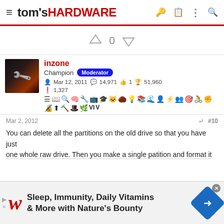tom's HARDWARE
0
inzone
Champion Moderator
Mar 12, 2011   14,971   1   51,960
1,327
Mar 2, 2012   #10
You can delete all the partitions on the old drive so that you have just one whole raw drive. Then you make a single patition and format it
[Figure (screenshot): Walgreens advertisement: Sleep, Immunity, Daily Vitamins & More with Nature's Bounty]